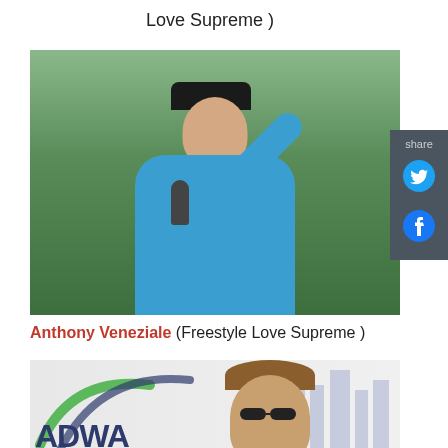Love Supreme )
[Figure (photo): Young man in blue t-shirt and black cap speaking into a microphone outdoors with trees in background, right arm raised]
Anthony Veneziale (Freestyle Love Supreme )
[Figure (photo): Person with sunglasses in front of a sign/logo reading ADWA with green and dark blue arc design]